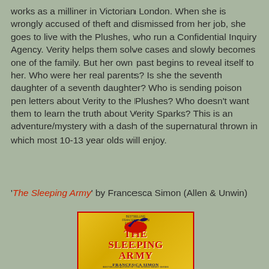works as a milliner in Victorian London. When she is wrongly accused of theft and dismissed from her job, she goes to live with the Plushes, who run a Confidential Inquiry Agency. Verity helps them solve cases and slowly becomes one of the family. But her own past begins to reveal itself to her. Who were her real parents? Is she the seventh daughter of a seventh daughter? Who is sending poison pen letters about Verity to the Plushes? Who doesn't want them to learn the truth about Verity Sparks? This is an adventure/mystery with a dash of the supernatural thrown in which most 10-13 year olds will enjoy.
'The Sleeping Army' by Francesca Simon (Allen & Unwin)
[Figure (photo): Book cover of 'The Sleeping Army' by Francesca Simon. Yellow/gold cover with red title text and a dark bird illustration, published by Allen & Unwin.]